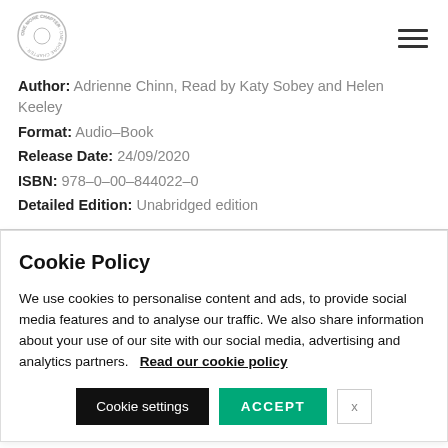[Figure (logo): Circular publisher logo with text around the border]
Author: Adrienne Chinn, Read by Katy Sobey and Helen Keeley
Format: Audio-Book
Release Date: 24/09/2020
ISBN: 978-0-00-844022-0
Detailed Edition: Unabridged edition
Cookie Policy
We use cookies to personalise content and ads, to provide social media features and to analyse our traffic. We also share information about your use of our site with our social media, advertising and analytics partners.   Read our cookie policy